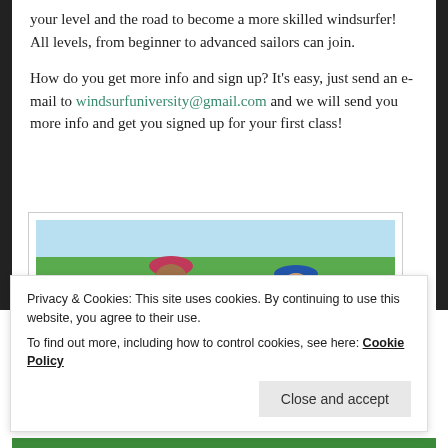your level and the road to become a more skilled windsurfer! All levels, from beginner to advanced sailors can join.
How do you get more info and sign up? It's easy, just send an e-mail to windsurfuniversity@gmail.com and we will send you more info and get you signed up for your first class!
[Figure (photo): Two people wearing teal shirts and caps, smiling outdoors with green trees and blue sky in the background.]
Privacy & Cookies: This site uses cookies. By continuing to use this website, you agree to their use.
To find out more, including how to control cookies, see here: Cookie Policy
Close and accept